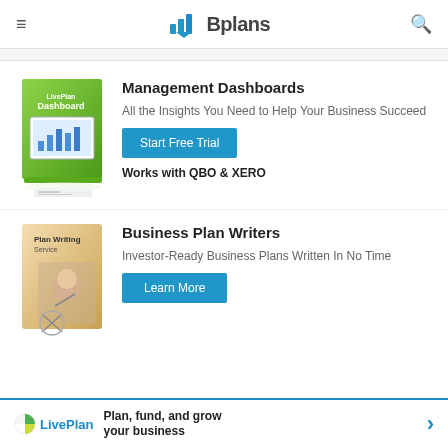Bplans
[Figure (illustration): Green box product image for Management Dashboards software]
Management Dashboards
All the Insights You Need to Help Your Business Succeed
Start Free Trial
Works with QBO & XERO
[Figure (illustration): Beige/tan box product image for Plan Writing Service]
Business Plan Writers
Investor-Ready Business Plans Written In No Time
Learn More
Plan, fund, and grow your business